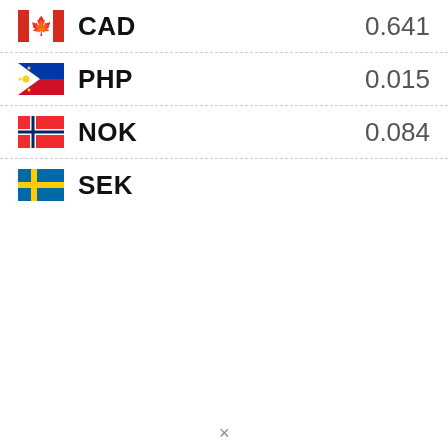CAD 0.641
PHP 0.015
NOK 0.084
SEK